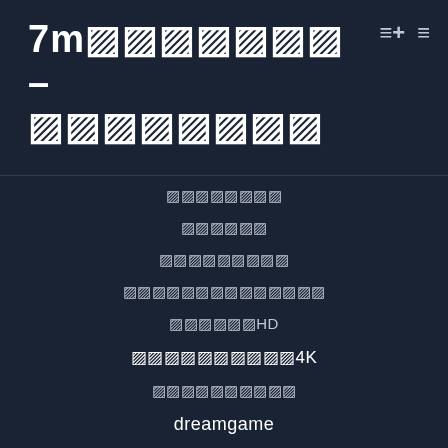7m[redacted] – [redacted]
[redacted]
[redacted]
[redacted]
[redacted]
[redacted] HD
[redacted] 4K
[redacted]
dreamgame
sagame
[redacted]